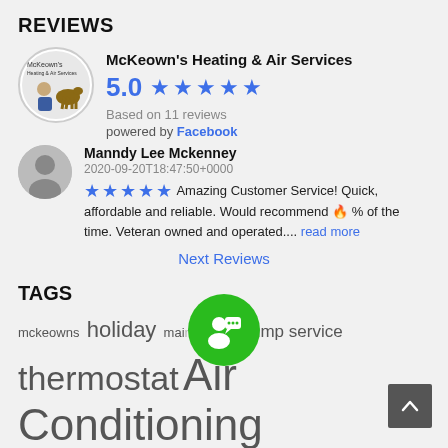REVIEWS
[Figure (logo): McKeown's Heating & Air Services business logo — circular with a technician illustration]
McKeown's Heating & Air Services
5.0 ★★★★★
Based on 11 reviews
powered by Facebook
Manndy Lee Mckenney
2020-09-20T18:47:50+0000
★★★★★ Amazing Customer Service! Quick, affordable and reliable. Would recommend 🔥 % of the time. Veteran owned and operated.... read more
Next Reviews
TAGS
mckeowns holiday maint Heat Pump service thermostat Air Conditioning